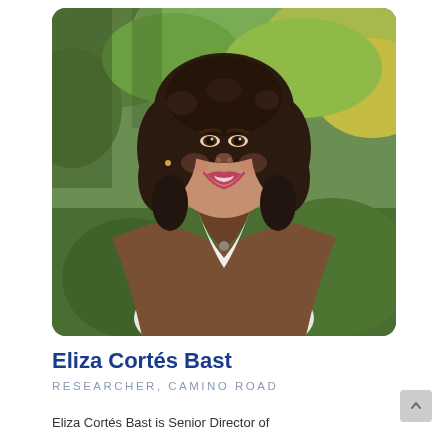[Figure (photo): Professional headshot of Eliza Cortés Bast, a woman with curly dark hair and a warm smile, wearing a brown leather jacket over a white top, photographed outdoors against a blurred green and yellow foliage background.]
Eliza Cortés Bast
RESEARCHER, CAMINO ROAD
Eliza Cortés Bast is Senior Director of